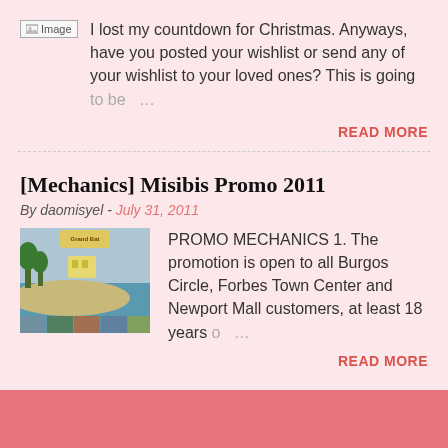[Figure (photo): Image placeholder icon]
I lost my countdown for Christmas. Anyways, have you posted your wishlist or send any of your wishlist to your loved ones? This is going to be …
READ MORE
[Mechanics] Misibis Promo 2011
By daomisyel - July 31, 2011
[Figure (photo): Misibis Bay resort promotional image with tropical scenery]
PROMO MECHANICS 1. The promotion is open to all Burgos Circle, Forbes Town Center and Newport Mall customers, at least 18 years o …
READ MORE